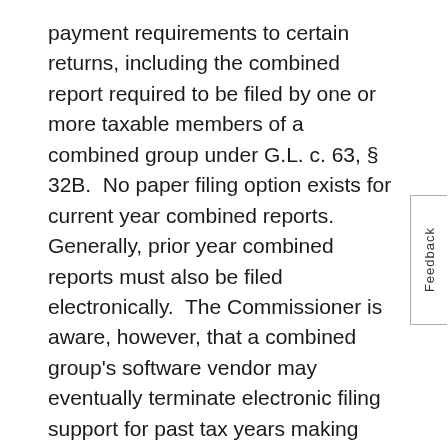payment requirements to certain returns, including the combined report required to be filed by one or more taxable members of a combined group under G.L. c. 63, § 32B.  No paper filing option exists for current year combined reports. Generally, prior year combined reports must also be filed electronically.  The Commissioner is aware, however, that a combined group's software vendor may eventually terminate electronic filing support for past tax years making electronic filing impossible for those tax years.  A taxpayer filing a combined report or seeking to amend a combined report for tax years for which electronic filing is no longer supported by the taxpayer's software vendor will be permitted to file for those tax years on paper, as described in this Directive, assuming that the taxpayer[1] has no reasonable alternative way to file electronically.